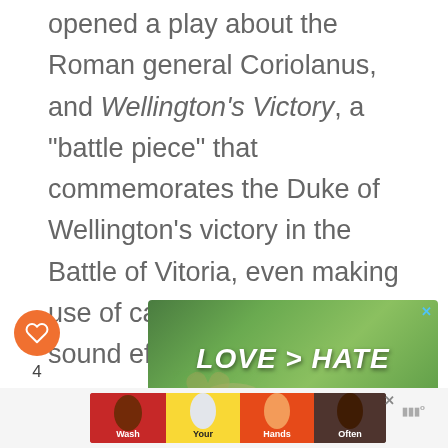opened a play about the Roman general Coriolanus, and Wellington's Victory, a “battle piece” that commemorates the Duke of Wellington’s victory in the Battle of Vitoria, even making use of cannon and musket sound effects.
[Figure (other): Social interaction buttons: orange heart/like button, number 4, and share icon button]
[Figure (other): Advertisement banner with green nature background showing hands forming heart shape, text reads LOVE > HATE with blue X close button]
[Figure (other): What's Next navigation showing orange label 'WHAT'S NEXT ->' with text 'What Is Texture In...' and a circular orange thumbnail]
[Figure (other): Advertisement banner with colorful hand-washing themed segments showing illustrated hands in red, yellow, blue, and orange sections. Text reads Wash Your Hands Often. X close button visible.]